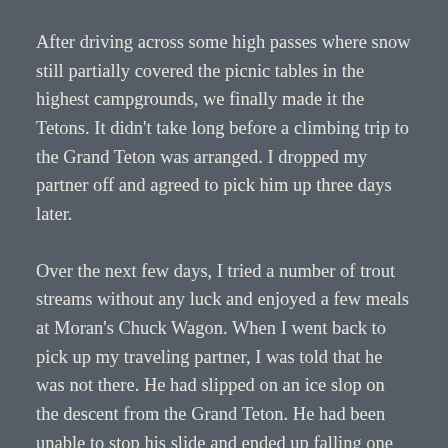After driving across some high passes where snow still partially covered the picnic tables in the highest campgrounds, we finally made it the Tetons. It didn't take long before a climbing trip to the Grand Teton was arranged. I dropped my partner off and agreed to pick him up three days later.
Over the next few days, I tried a number of trout streams without any luck and enjoyed a few meals at Moran's Chuck Wagon. When I went back to pick up my traveling partner, I was told that he was not there. He had slipped on an ice slop on the descent from the Grand Teton. He had been unable to stop his slide and ended up falling one hundred fifty feet to a ledge barely a foot or two wide.